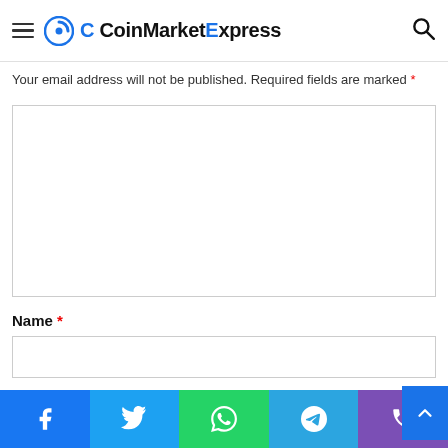Leave a Reply
CoinMarketExpress
Your email address will not be published. Required fields are marked *
Name *
Email *